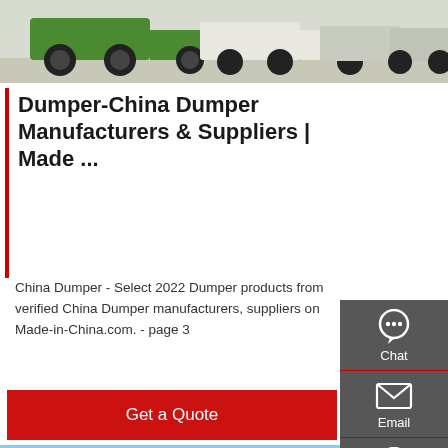[Figure (photo): Row of green and white dump trucks parked in a yard, viewed from the front-left angle.]
Dumper-China Dumper Manufacturers & Suppliers | Made ...
China Dumper - Select 2022 Dumper products from verified China Dumper manufacturers, suppliers on Made-in-China.com. - page 3
Get a Quote
[Figure (photo): Red SINOTRUK dump truck photographed from the front-side, showing the cab and raised dump body against a blue sky.]
Chat
Email
Contact
Top